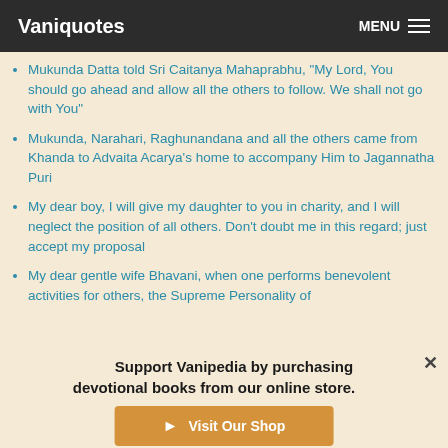Vaniquotes  MENU
Mukunda Datta told Sri Caitanya Mahaprabhu, "My Lord, You should go ahead and allow all the others to follow. We shall not go with You"
Mukunda, Narahari, Raghunandana and all the others came from Khanda to Advaita Acarya's home to accompany Him to Jagannatha Puri
My dear boy, I will give my daughter to you in charity, and I will neglect the position of all others. Don't doubt me in this regard; just accept my proposal
My dear gentle wife Bhavani, when one performs benevolent activities for others, the Supreme Personality of
Support Vanipedia by purchasing devotional books from our online store.
Visit Our Shop